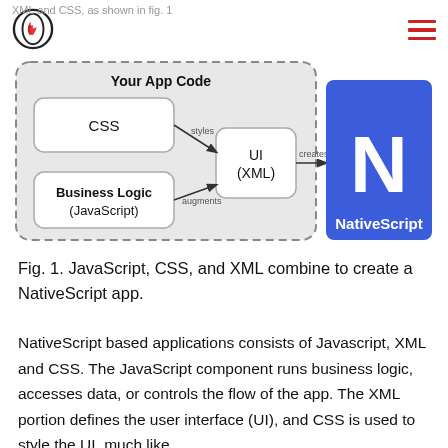XML and CSS, as shown in fig. 1
[Figure (flowchart): Flowchart showing NativeScript app architecture: 'Your App Code' dashed box contains CSS and Business Logic (JavaScript) boxes, connected via 'styles' and 'augments' arrows to UI (XML) box, which connects via 'creates' arrow to NativeScript logo (blue square with white N).]
Fig. 1. JavaScript, CSS, and XML combine to create a NativeScript app.
NativeScript based applications consists of Javascript, XML and CSS. The JavaScript component runs business logic, accesses data, or controls the flow of the app. The XML portion defines the user interface (UI), and CSS is used to style the UI, much like